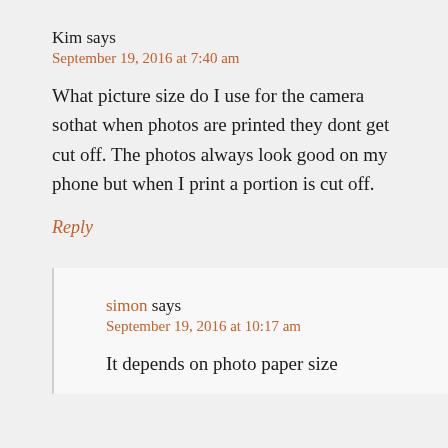Kim says
September 19, 2016 at 7:40 am
What picture size do I use for the camera sothat when photos are printed they dont get cut off. The photos always look good on my phone but when I print a portion is cut off.
Reply
simon says
September 19, 2016 at 10:17 am
It depends on photo paper size